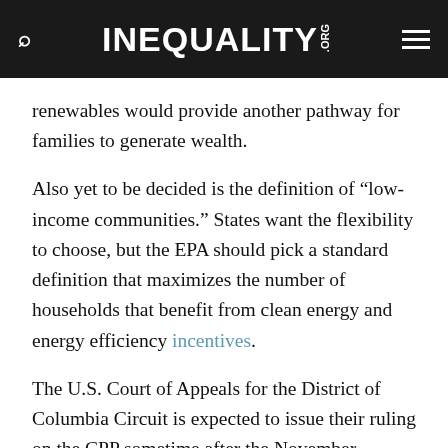INEQUALITY.ORG
renewables would provide another pathway for families to generate wealth.
Also yet to be decided is the definition of “low-income communities.” States want the flexibility to choose, but the EPA should pick a standard definition that maximizes the number of households that benefit from clean energy and energy efficiency incentives.
The U.S. Court of Appeals for the District of Columbia Circuit is expected to issue their ruling on the CPP sometime after the November election. But no matter the outcome of this round, the fight over the CPP from both sides will continue. Opponents say will take this case to the Supreme Court. Meanwhile, environmental justice activists will continue to work to make the most of the CPP’s potential for reducing inequality.